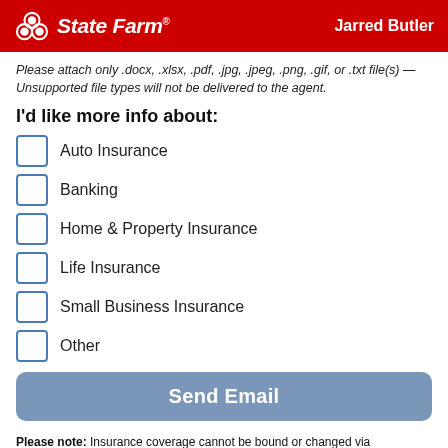State Farm — Jarred Butler
Please attach only .docx, .xlsx, .pdf, .jpg, .jpeg, .png, .gif, or .txt file(s) — Unsupported file types will not be delivered to the agent.
I'd like more info about:
Auto Insurance
Banking
Home & Property Insurance
Life Insurance
Small Business Insurance
Other
Send Email
Please note: Insurance coverage cannot be bound or changed via submission of this online e-mail form or via voice mail. To make policy changes or request additional coverage, please speak with a licensed representative in the agent's